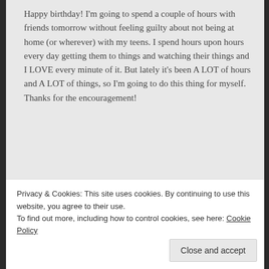Happy birthday! I'm going to spend a couple of hours with friends tomorrow without feeling guilty about not being at home (or wherever) with my teens. I spend hours upon hours every day getting them to things and watching their things and I LOVE every minute of it. But lately it's been A LOT of hours and A LOT of things, so I'm going to do this thing for myself. Thanks for the encouragement!
★ Liked by 1 person
Reply
tenthousandplaces says:
Privacy & Cookies: This site uses cookies. By continuing to use this website, you agree to their use.
To find out more, including how to control cookies, see here: Cookie Policy
Close and accept